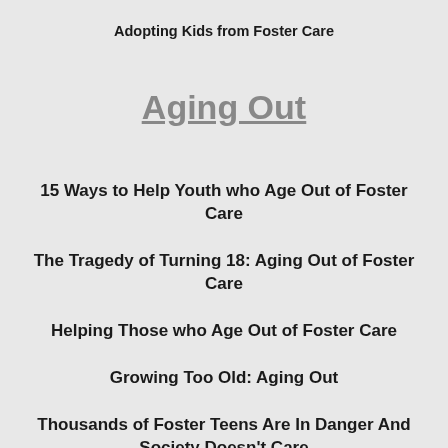Adopting Kids from Foster Care
Aging Out
15 Ways to Help Youth who Age Out of Foster Care
The Tragedy of Turning 18: Aging Out of Foster Care
Helping Those who Age Out of Foster Care
Growing Too Old: Aging Out
Thousands of Foster Teens Are In Danger And Society Doesn't Care